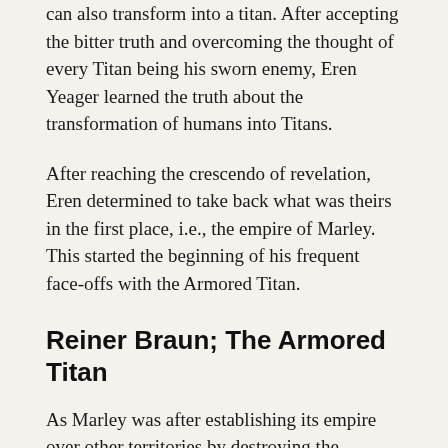can also transform into a titan. After accepting the bitter truth and overcoming the thought of every Titan being his sworn enemy, Eren Yeager learned the truth about the transformation of humans into Titans.
After reaching the crescendo of revelation, Eren determined to take back what was theirs in the first place, i.e., the empire of Marley. This started the beginning of his frequent face-offs with the Armored Titan.
Reiner Braun; The Armored Titan
As Marley was after establishing its empire over other territories by destroying the remnants of the Eldian empire in Paradis Island, they sent a warrior unit to get a hold on the power of the Founding Titan.